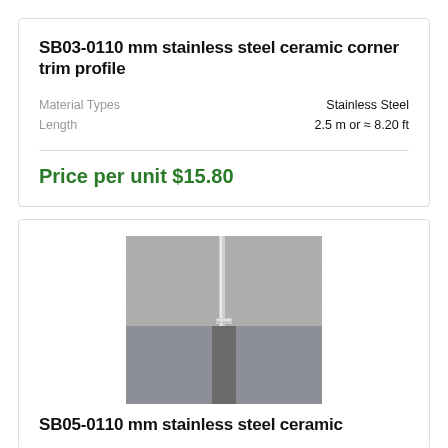SB03-0110 mm stainless steel ceramic corner trim profile
Material Types: Stainless Steel
Length: 2.5 m or ≈ 8.20 ft
Price per unit $15.80
[Figure (photo): Close-up photo of a stainless steel ceramic corner trim profile installed at the corner of grey tiles, showing the metal trim fitting at the junction of two tile surfaces.]
SB05-0110 mm stainless steel ceramic